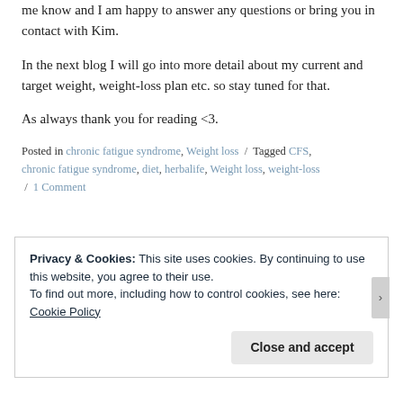me know and I am happy to answer any questions or bring you in contact with Kim.
In the next blog I will go into more detail about my current and target weight, weight-loss plan etc. so stay tuned for that.
As always thank you for reading <3.
Posted in chronic fatigue syndrome, Weight loss / Tagged CFS, chronic fatigue syndrome, diet, herbalife, Weight loss, weight-loss / 1 Comment
Privacy & Cookies: This site uses cookies. By continuing to use this website, you agree to their use.
To find out more, including how to control cookies, see here:
Cookie Policy